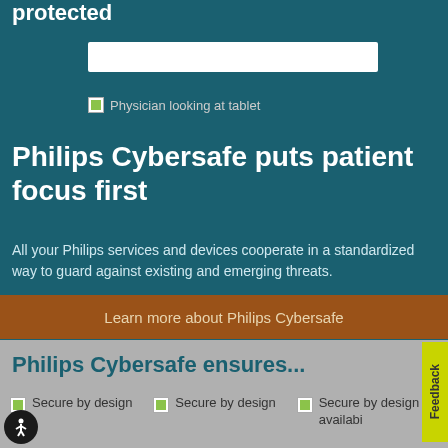protected
[Figure (photo): White search/input bar on dark teal background]
[Figure (photo): Physician looking at tablet - broken image placeholder]
Philips Cybersafe puts patient focus first
All your Philips services and devices cooperate in a standardized way to guard against existing and emerging threats.
Learn more about Philips Cybersafe
Philips Cybersafe ensures...
Secure by design
Secure by design
Secure by design availabi